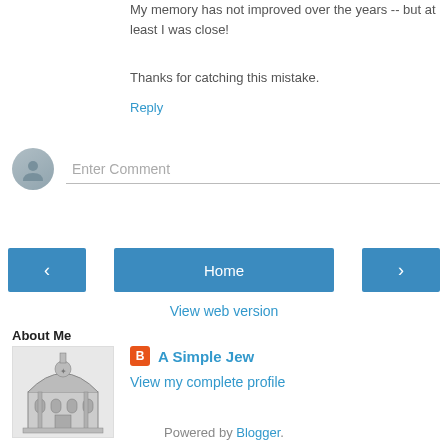My memory has not improved over the years -- but at least I was close!
Thanks for catching this mistake.
Reply
Enter Comment
‹
Home
›
View web version
About Me
[Figure (photo): Black and white illustration of a synagogue building]
A Simple Jew
View my complete profile
Powered by Blogger.